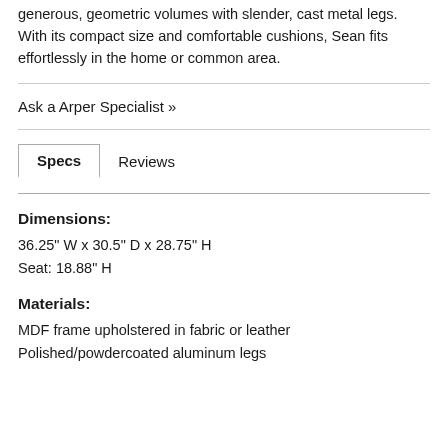generous, geometric volumes with slender, cast metal legs. With its compact size and comfortable cushions, Sean fits effortlessly in the home or common area.
Ask a Arper Specialist »
Specs
Reviews
Dimensions:
36.25" W x 30.5" D x 28.75" H
Seat: 18.88" H
Materials:
MDF frame upholstered in fabric or leather
Polished/powdercoated aluminum legs